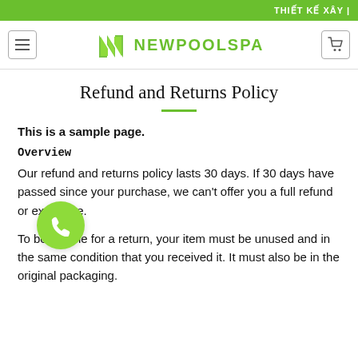THIẾT KẾ XÂY |
[Figure (logo): NewPoolSpa logo with green stylized N icon and green text 'NEWPOOLSPA']
Refund and Returns Policy
This is a sample page.
Overview
Our refund and returns policy lasts 30 days. If 30 days have passed since your purchase, we can't offer you a full refund or exchange.
To be eligible for a return, your item must be unused and in the same condition that you received it. It must also be in the original packaging.